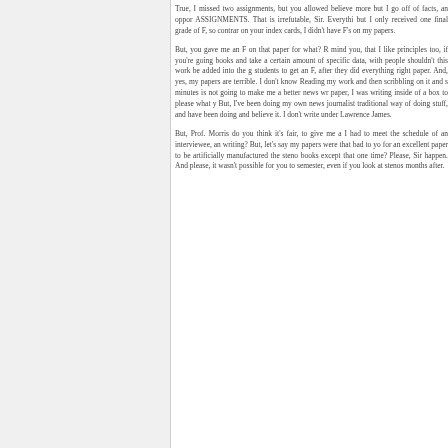True, I missed two assignments, but you allowed believe more but I go off of facts, an oppor ASSIGNMENTS. That is irrefutable, Sir. Everythi but I only received one final grade of F, so contrar on your index cards, I didn't have F's on my papers.
But, you gave me an F on that paper for what? R mind you, that I like principles too, if you're going books and take a certain amount of specific data, with people shouldn't this work be added into the g students to get an F, after they did everything right paper. And, yes, my papers are terrible. I don't know Reading my work and then scribbling on it and s minutes is not going to make me a better news wr paper, I was writing inside of a box to please what y But, I've been doing my own news journalist traditional way of doing stuff, and have been doing and believe it. I don't write under Lawrence James.
But, Prof. Morris do you think it's fair, to give me a I had to meet the schedule of an interviewee, an writing? But, let's say my papers were that bad to yo for an excellent paper to be artificially manufactured the steno books except that one time? Please, Sir happen. And please, it wasn't possible for you to semester, even if you look at stenos months after.